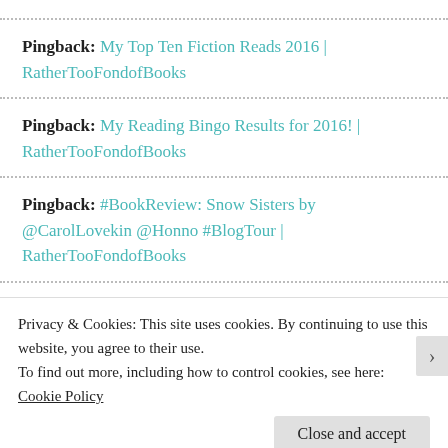Pingback: My Top Ten Fiction Reads 2016 | RatherTooFondofBooks
Pingback: My Reading Bingo Results for 2016! | RatherTooFondofBooks
Pingback: #BookReview: Snow Sisters by @CarolLovekin @Honno #BlogTour | RatherTooFondofBooks
Pingback: Being on a list with your sheroes | Making it
Privacy & Cookies: This site uses cookies. By continuing to use this website, you agree to their use. To find out more, including how to control cookies, see here: Cookie Policy